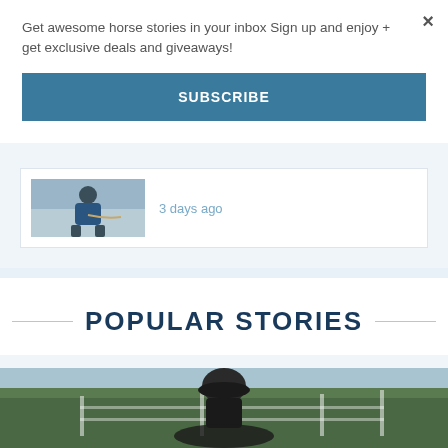Get awesome horse stories in your inbox Sign up and enjoy + get exclusive deals and giveaways!
SUBSCRIBE
3 days ago
[Figure (photo): Thumbnail image of a person in blue clothing holding horse reins]
POPULAR STORIES
[Figure (photo): Outdoor equestrian scene with a rider wearing a helmet, trees and fencing in background]